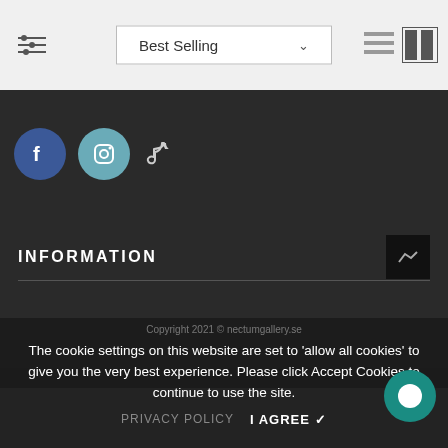Best Selling
[Figure (screenshot): Social media icons: Facebook (blue circle), Instagram (teal circle), TikTok (music note icon)]
INFORMATION
The cookie settings on this website are set to 'allow all cookies' to give you the very best experience. Please click Accept Cookies to continue to use the site.
PRIVACY POLICY   I AGREE ✔